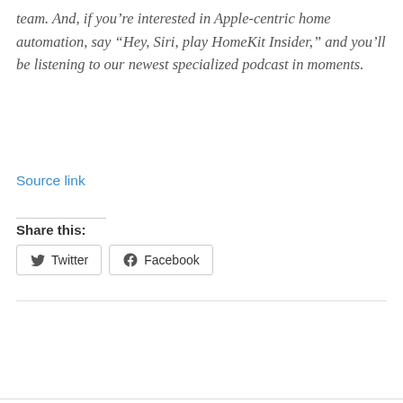team. And, if you're interested in Apple-centric home automation, say “Hey, Siri, play HomeKit Insider,” and you'll be listening to our newest specialized podcast in moments.
Source link
Share this:
[Figure (other): Twitter and Facebook share buttons]
[Figure (other): Facebook Like button showing 0 likes, and social sharing icons for Facebook, Twitter, Pinterest, WhatsApp, and More (+)]